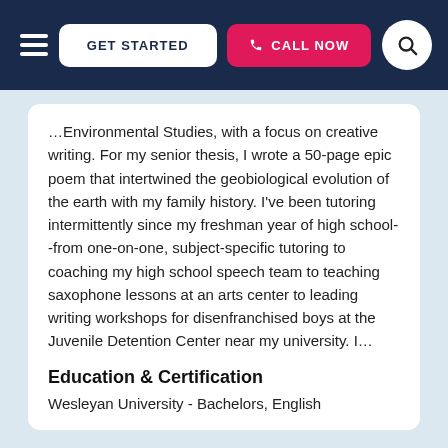GET STARTED | CALL NOW
…Environmental Studies, with a focus on creative writing. For my senior thesis, I wrote a 50-page epic poem that intertwined the geobiological evolution of the earth with my family history. I've been tutoring intermittently since my freshman year of high school--from one-on-one, subject-specific tutoring to coaching my high school speech team to teaching saxophone lessons at an arts center to leading writing workshops for disenfranchised boys at the Juvenile Detention Center near my university. I…
Education & Certification
Wesleyan University - Bachelors, English